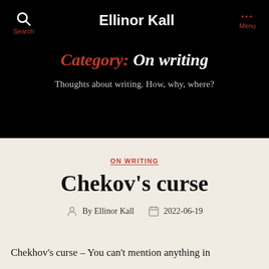Ellinor Kall
Category: On writing
Thoughts about writing. How, why, where?
ON WRITING
Chekov’s curse
By Ellinor Kall   2022-06-19
Chekhov’s curse – You can’t mention anything in